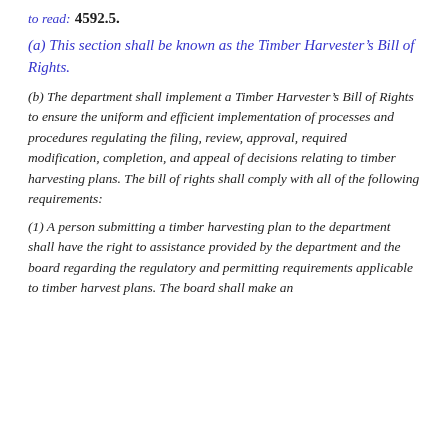to read:
4592.5.
(a) This section shall be known as the Timber Harvester’s Bill of Rights.
(b) The department shall implement a Timber Harvester’s Bill of Rights to ensure the uniform and efficient implementation of processes and procedures regulating the filing, review, approval, required modification, completion, and appeal of decisions relating to timber harvesting plans. The bill of rights shall comply with all of the following requirements:
(1) A person submitting a timber harvesting plan to the department shall have the right to assistance provided by the department and the board regarding the regulatory and permitting requirements applicable to timber harvest plans. The board shall make an